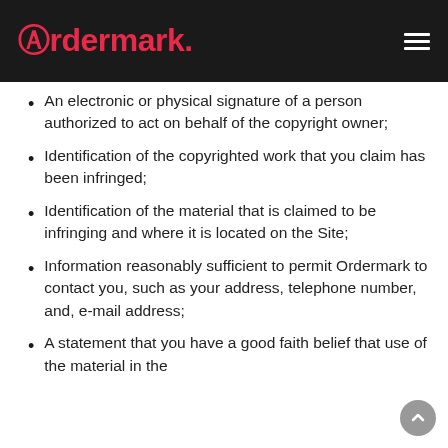Ordermark
An electronic or physical signature of a person authorized to act on behalf of the copyright owner;
Identification of the copyrighted work that you claim has been infringed;
Identification of the material that is claimed to be infringing and where it is located on the Site;
Information reasonably sufficient to permit Ordermark to contact you, such as your address, telephone number, and, e-mail address;
A statement that you have a good faith belief that use of the material in the